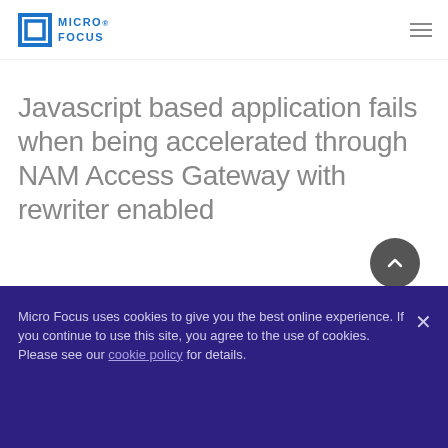[Figure (logo): Micro Focus logo — blue square bracket icon with MICRO FOCUS text in blue]
Javascript based application fails when being accelerated through NAM Access Gateway with rewriter enabled
Document ID:
Micro Focus uses cookies to give you the best online experience. If you continue to use this site, you agree to the use of cookies. Please see our cookie policy for details.